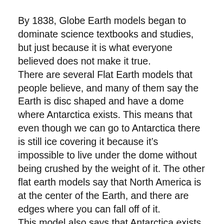By 1838, Globe Earth models began to dominate science textbooks and studies, but just because it is what everyone believed does not make it true.
There are several Flat Earth models that people believe, and many of them say the Earth is disc shaped and have a dome where Antarctica exists. This means that even though we can go to Antarctica there is still ice covering it because it's impossible to live under the dome without being crushed by the weight of it. The other flat earth models say that North America is at the center of the Earth, and there are edges where you can fall off of it.
This model also says that Antarctica exists on a disc with an ice wall surrounding it, and North America is in the middle. There is also another model that says... [text continues]